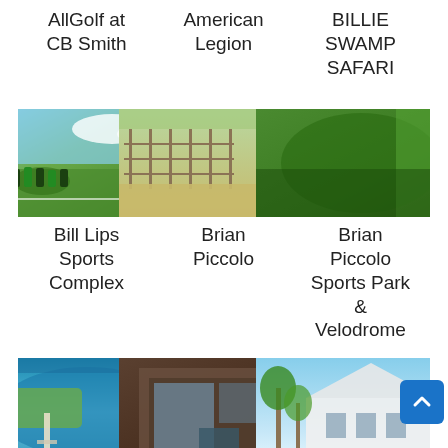AllGolf at CB Smith
American Legion
BILLIE SWAMP SAFARI
[Figure (photo): Sports field with players in green uniforms on grass]
[Figure (photo): Outdoor sports facility with fence and grass field]
[Figure (photo): Lush green trees and vegetation]
Bill Lips Sports Complex
Brian Piccolo
Brian Piccolo Sports Park & Velodrome
[Figure (photo): Aerial view of waterfront area with pier and blue water]
[Figure (photo): Interior of a building with dark facade]
[Figure (photo): White building with palm trees under blue sky]
Broward College - Tigertail Lake Recreational
China City
Christ the Rock Community Church